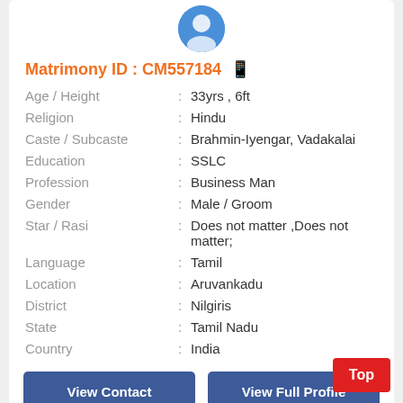[Figure (illustration): Blue circular avatar/profile icon at the top of the card]
Matrimony ID : CM557184
| Field | : | Value |
| --- | --- | --- |
| Age / Height | : | 33yrs , 6ft |
| Religion | : | Hindu |
| Caste / Subcaste | : | Brahmin-Iyengar, Vadakalai |
| Education | : | SSLC |
| Profession | : | Business Man |
| Gender | : | Male / Groom |
| Star / Rasi | : | Does not matter ,Does not matter; |
| Language | : | Tamil |
| Location | : | Aruvankadu |
| District | : | Nilgiris |
| State | : | Tamil Nadu |
| Country | : | India |
View Contact
View Full Profile
[Figure (illustration): Blue circular avatar/profile icon at the bottom of the page]